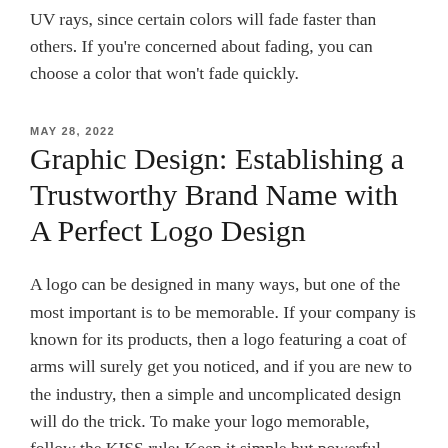UV rays, since certain colors will fade faster than others. If you're concerned about fading, you can choose a color that won't fade quickly.
MAY 28, 2022
Graphic Design: Establishing a Trustworthy Brand Name with A Perfect Logo Design
A logo can be designed in many ways, but one of the most important is to be memorable. If your company is known for its products, then a logo featuring a coat of arms will surely get you noticed, and if you are new to the industry, then a simple and uncomplicated design will do the trick. To make your logo memorable, follow the KISS rule: Keep it simple but powerful. Don't overdo it by using thousands of coats of arms; a simple and powerful logo